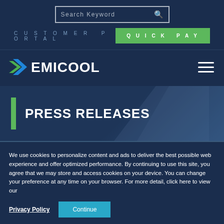Search Keyword
Customer Portal
Quick Pay
[Figure (logo): Emicool logo with checkmark icon in green and blue on dark navy background]
PRESS RELEASES
We use cookies to personalize content and ads to deliver the best possible web experience and offer optimized performance. By continuing to use this site, you agree that we may store and access cookies on your device. You can change your preference at any time on your browser. For more detail, click here to view our
Privacy Policy
Continue